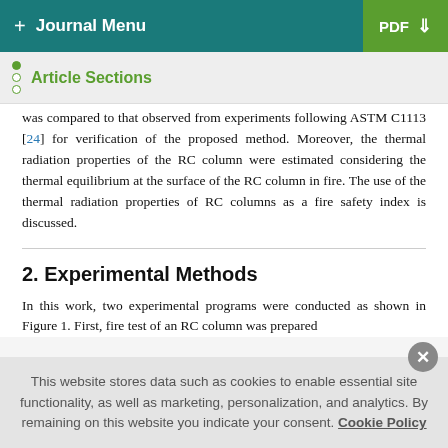+ Journal Menu | PDF ↓
Article Sections
was compared to that observed from experiments following ASTM C1113 [24] for verification of the proposed method. Moreover, the thermal radiation properties of the RC column were estimated considering the thermal equilibrium at the surface of the RC column in fire. The use of the thermal radiation properties of RC columns as a fire safety index is discussed.
2. Experimental Methods
In this work, two experimental programs were conducted as shown in Figure 1. First, fire test of an RC column was prepared
This website stores data such as cookies to enable essential site functionality, as well as marketing, personalization, and analytics. By remaining on this website you indicate your consent. Cookie Policy